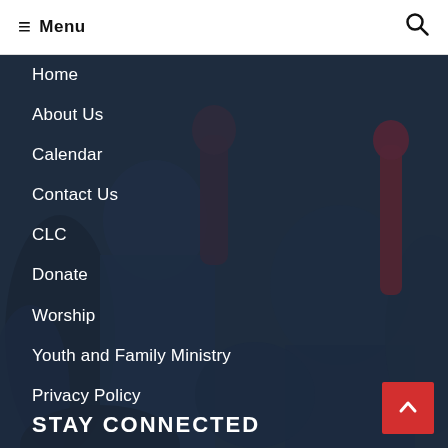≡ Menu  🔍
[Figure (photo): Dark-toned crowd/congregation photo used as background with overlay, people raising hands in worship]
Home
About Us
Calendar
Contact Us
CLC
Donate
Worship
Youth and Family Ministry
Privacy Policy
STAY CONNECTED